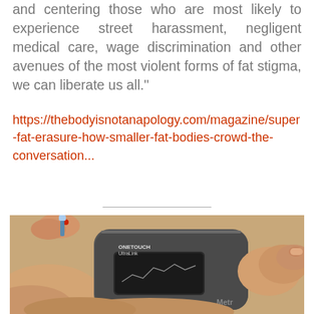and centering those who are most likely to experience street harassment, negligent medical care, wage discrimination and other avenues of the most violent forms of fat stigma, we can liberate us all."
https://thebodyisnotanapology.com/magazine/super-fat-erasure-how-smaller-fat-bodies-crowd-the-conversation...
[Figure (photo): Close-up photograph of hands holding a OneTouch UltraLink blood glucose meter, with a finger being tested with a lancet. The device has a dark screen and the branding 'OneTouch UltraLink' and 'Meth' (partially visible) on its face.]